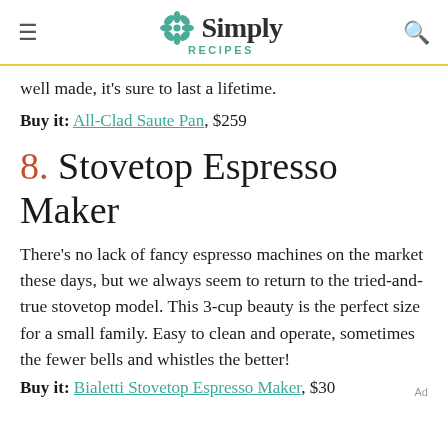Simply Recipes
well made, it's sure to last a lifetime.
Buy it: All-Clad Saute Pan, $259
8. Stovetop Espresso Maker
There's no lack of fancy espresso machines on the market these days, but we always seem to return to the tried-and-true stovetop model. This 3-cup beauty is the perfect size for a small family. Easy to clean and operate, sometimes the fewer bells and whistles the better!
Buy it: Bialetti Stovetop Espresso Maker, $30